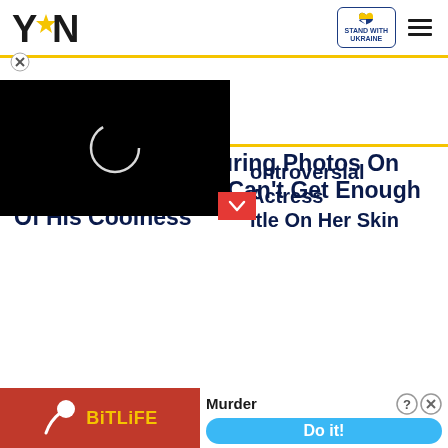YEN logo, Stand With Ukraine badge, hamburger menu
Sarkodie Drops Alluring Photos On Social Media; Fans Can't Get Enough Of His Coolness
[Figure (screenshot): Black video player overlay with loading spinner circle]
ontroversial Actress itle On Her Skin
[Figure (screenshot): BitLife advertisement banner with red background, sperm logo, BiTLiFE text, Murder / Do it! call to action on white background]